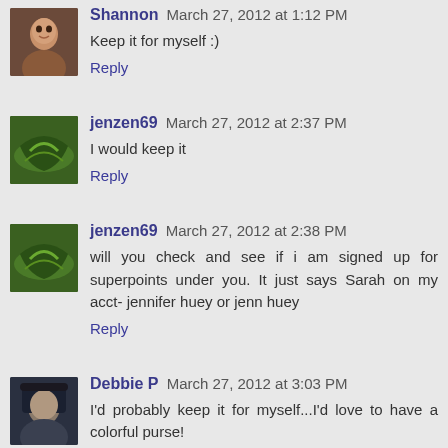Shannon March 27, 2012 at 1:12 PM
Keep it for myself :)
Reply
jenzen69 March 27, 2012 at 2:37 PM
I would keep it
Reply
jenzen69 March 27, 2012 at 2:38 PM
will you check and see if i am signed up for superpoints under you. It just says Sarah on my acct- jennifer huey or jenn huey
Reply
Debbie P March 27, 2012 at 3:03 PM
I'd probably keep it for myself...I'd love to have a colorful purse!